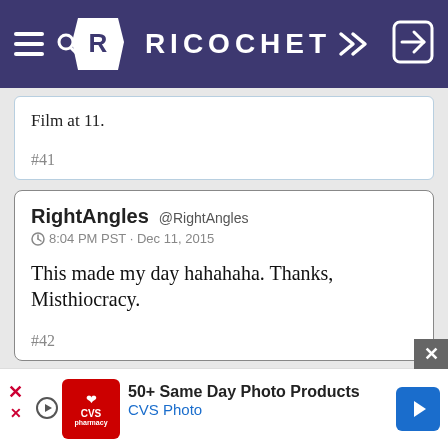RICOCHET
Film at 11.
#41
RightAngles @RightAngles
8:04 PM PST · Dec 11, 2015

This made my day hahahaha. Thanks, Misthiocracy.

#42
[Figure (screenshot): CVS Photo advertisement banner: '50+ Same Day Photo Products - CVS Photo']